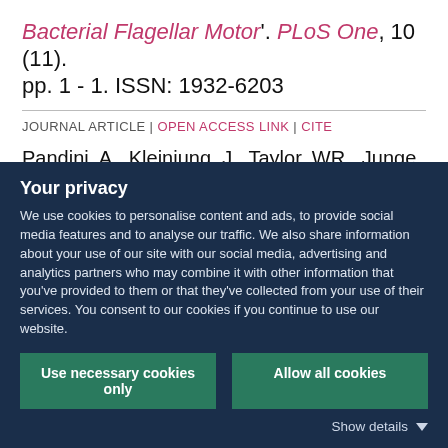Bacterial Flagellar Motor'. PLoS One, 10 (11). pp. 1 - 1. ISSN: 1932-6203
JOURNAL ARTICLE | OPEN ACCESS LINK | CITE
Pandini, A., Kleinjung, J., Taylor, WR., Junge, W. and Khan, S. (2015) 'The Phylogenetic Signature Underlying ATP Synthase c-ring
Your privacy
We use cookies to personalise content and ads, to provide social media features and to analyse our traffic. We also share information about your use of our site with our social media, advertising and analytics partners who may combine it with other information that you've provided to them or that they've collected from your use of their services. You consent to our cookies if you continue to use our website.
Use necessary cookies only
Allow all cookies
Show details